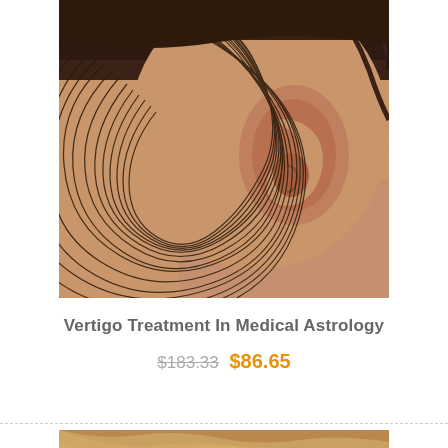[Figure (photo): Close-up photo of a human ear with concentric spiral lines overlaid, suggesting sound waves or vertigo sensation]
Vertigo Treatment In Medical Astrology
$183.33 $86.65
[Figure (photo): Partial view of a second product image showing hair/head with a green Sale badge in corner]